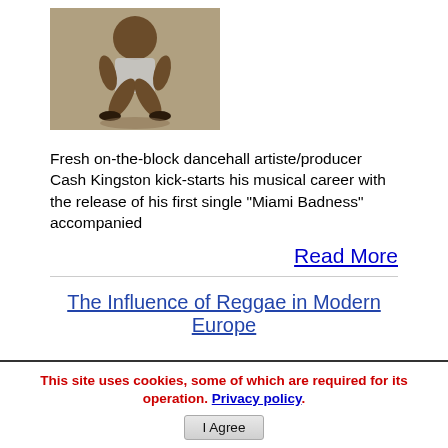[Figure (photo): Man crouching in a pose, wearing a white tank top, photographed against a light background.]
Fresh on-the-block dancehall artiste/producer Cash Kingston kick-starts his musical career with the release of his first single “Miami Badness” accompanied
Read More
The Influence of Reggae in Modern Europe
This site uses cookies, some of which are required for its operation. Privacy policy. I Agree